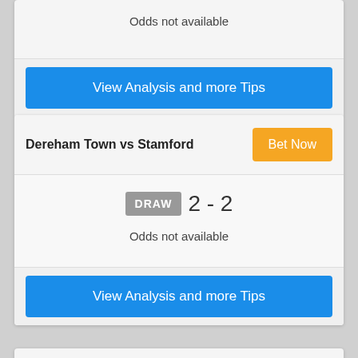Odds not available
View Analysis and more Tips
Dereham Town vs Stamford
Bet Now
DRAW  2 - 2
Odds not available
View Analysis and more Tips